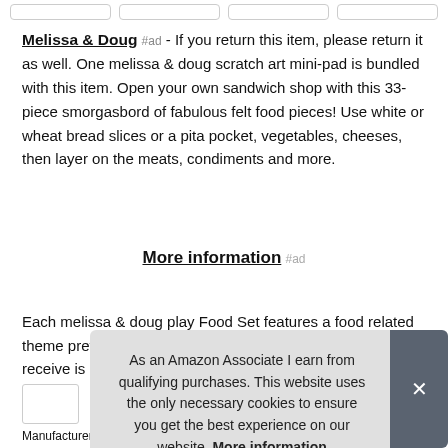Melissa & Doug #ad - If you return this item, please return it as well. One melissa & doug scratch art mini-pad is bundled with this item. Open your own sandwich shop with this 33-piece smorgasbord of fabulous felt food pieces! Use white or wheat bread slices or a pita pocket, vegetables, cheeses, then layer on the meats, condiments and more.
More information #ad
Each melissa & doug play Food Set features a food related theme pretend play toy set. The style of the mini-pad you receive is randomly picked. For ages 3+. Makes learning fun with
As an Amazon Associate I earn from qualifying purchases. This website uses the only necessary cookies to ensure you get the best experience on our website. More information
Manufacturer: Melissa & Doug